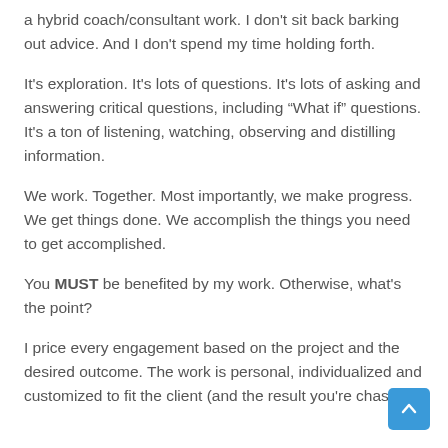a hybrid coach/consultant work. I don't sit back barking out advice. And I don't spend my time holding forth.
It's exploration. It's lots of questions. It's lots of asking and answering critical questions, including “What if” questions. It's a ton of listening, watching, observing and distilling information.
We work. Together. Most importantly, we make progress. We get things done. We accomplish the things you need to get accomplished.
You MUST be benefited by my work. Otherwise, what's the point?
I price every engagement based on the project and the desired outcome. The work is personal, individualized and customized to fit the client (and the result you're chasing).